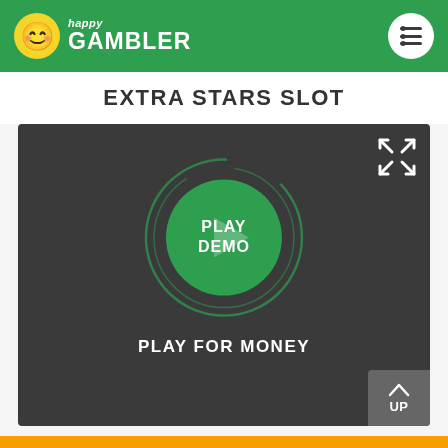happy GAMBLER
EXTRA STARS SLOT
[Figure (screenshot): Game demo area with dark background showing a PLAY DEMO button (green circle with play arrow) and PLAY FOR MONEY text below. Top-right has minimize/fullscreen icon. Bottom-right has an UP navigation button.]